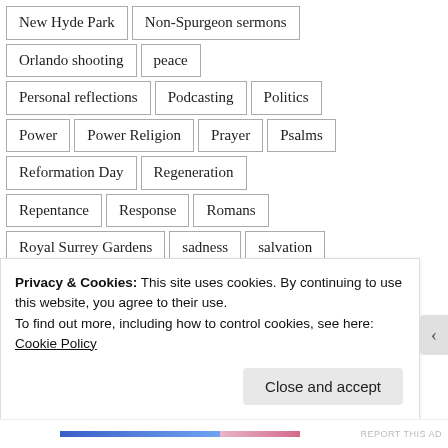New Hyde Park
Non-Spurgeon sermons
Orlando shooting
peace
Personal reflections
Podcasting
Politics
Power
Power Religion
Prayer
Psalms
Reformation Day
Regeneration
Repentance
Response
Romans
Royal Surrey Gardens
sadness
salvation
sanctification
Scripture Sunday
sin
Privacy & Cookies: This site uses cookies. By continuing to use this website, you agree to their use.
To find out more, including how to control cookies, see here:
Cookie Policy
Close and accept